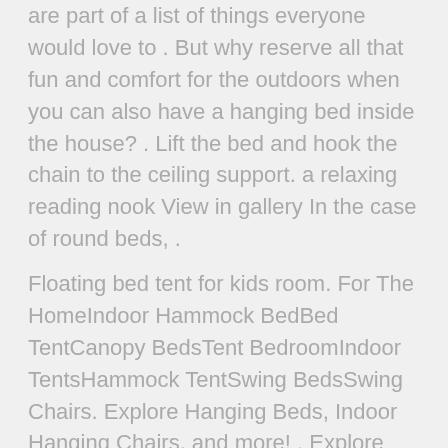are part of a list of things everyone would love to . But why reserve all that fun and comfort for the outdoors when you can also have a hanging bed inside the house? . Lift the bed and hook the chain to the ceiling support. a relaxing reading nook View in gallery In the case of round beds, .
Floating bed tent for kids room. For The HomeIndoor Hammock BedBed TentCanopy BedsTent BedroomIndoor TentsHammock TentSwing BedsSwing Chairs. Explore Hanging Beds, Indoor Hanging Chairs, and more! . Explore your options with swing beds, hammocks, sofa beds, and even bean bags! Check out our post Chic Misfits: Find this Pin and